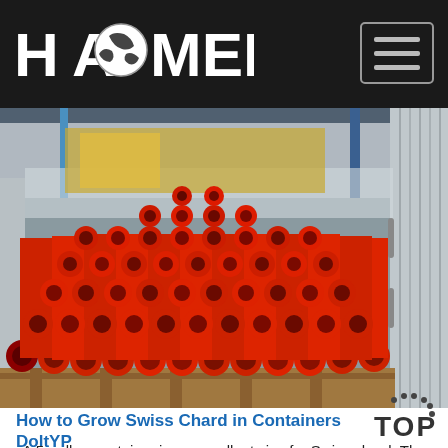HAOMEI
[Figure (photo): Stack of red painted steel pipes/tubes bundled and loaded inside a shipping container, resting on wooden pallets. The container interior is visible with corrugated metal walls on the sides.]
How to Grow Swiss Chard in Containers DoltYP
A 5-gallon container is an excellent size for Swiss chard. The plant itself can grow 1 to 2 feet tall. Although there is some